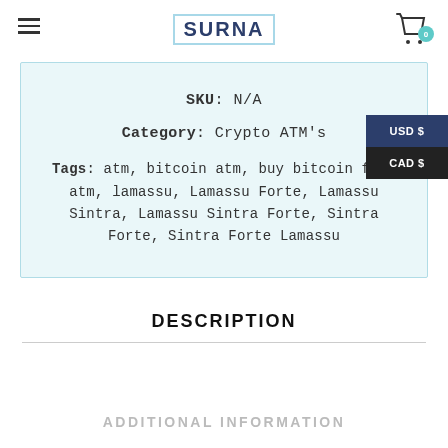SURNA
SKU: N/A
Category: Crypto ATM's
Tags: atm, bitcoin atm, buy bitcoin from atm, lamassu, Lamassu Forte, Lamassu Sintra, Lamassu Sintra Forte, Sintra Forte, Sintra Forte Lamassu
DESCRIPTION
ADDITIONAL INFORMATION